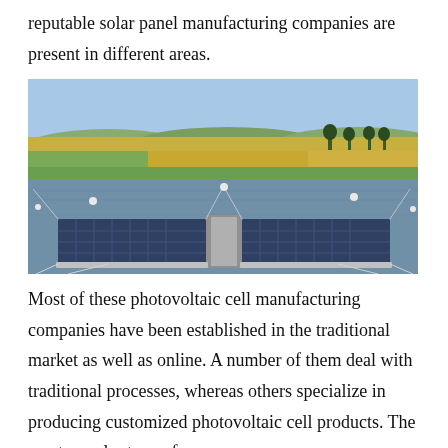reputable solar panel manufacturing companies are present in different areas.
[Figure (photo): Aerial view of a floating solar panel array on a reservoir or pond. Two large rectangular platforms covered with blue photovoltaic panels float on calm water, connected by cables anchored at multiple points. Behind the panels is a landscape of green and golden fields with hills in the background under a clear blue sky.]
Most of these photovoltaic cell manufacturing companies have been established in the traditional market as well as online. A number of them deal with traditional processes, whereas others specialize in producing customized photovoltaic cell products. The most popular type of